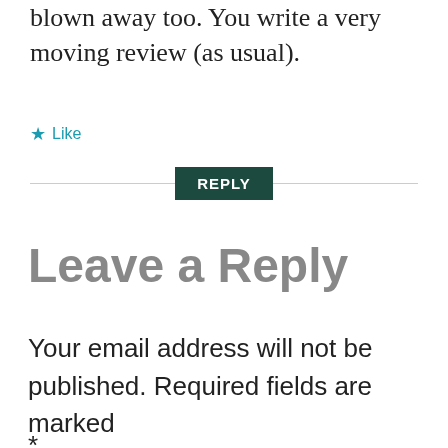blown away too. You write a very moving review (as usual).
★ Like
REPLY
Leave a Reply
Your email address will not be published. Required fields are marked *